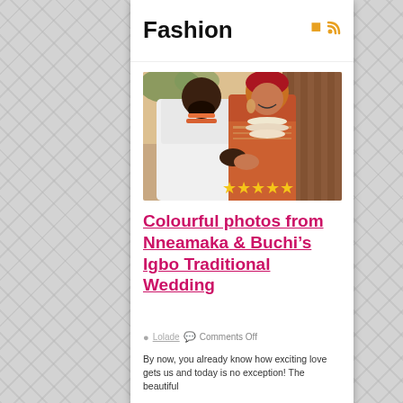Fashion
[Figure (photo): A couple in traditional Igbo wedding attire. The man is dressed in white agbada with orange beads. The woman wears a red embroidered outfit with large coral/pearl beaded necklace and a red head tie. They are facing each other closely in an outdoor setting. Stars rating overlay at bottom right.]
Colourful photos from Nneamaka & Buchi's Igbo Traditional Wedding
Lolade   Comments Off
By now, you already know how exciting love gets us and today is no exception! The beautiful